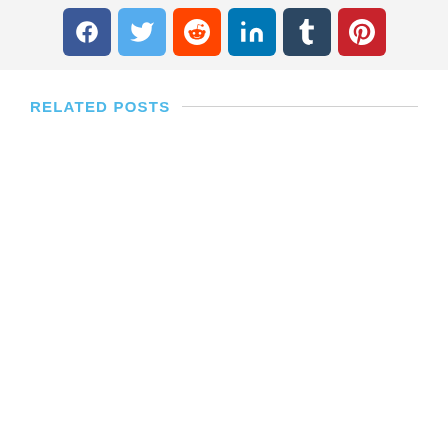[Figure (other): Social media sharing buttons: Facebook (blue), Twitter (light blue), Reddit (orange), LinkedIn (dark teal), Tumblr (dark navy), Pinterest (red)]
RELATED POSTS